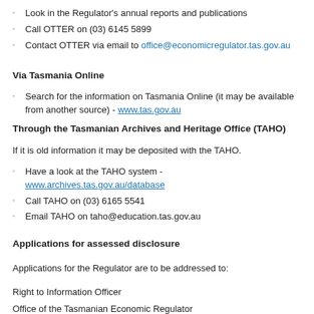Look in the Regulator's annual reports and publications
Call OTTER on (03) 6145 5899
Contact OTTER via email to office@economicregulator.tas.gov.au
Via Tasmania Online
Search for the information on Tasmania Online (it may be available from another source) - www.tas.gov.au
Through the Tasmanian Archives and Heritage Office (TAHO)
If it is old information it may be deposited with the TAHO.
Have a look at the TAHO system - www.archives.tas.gov.au/database
Call TAHO on (03) 6165 5541
Email TAHO on taho@education.tas.gov.au
Applications for assessed disclosure
Applications for the Regulator are to be addressed to:
Right to Information Officer
Office of the Tasmanian Economic Regulator